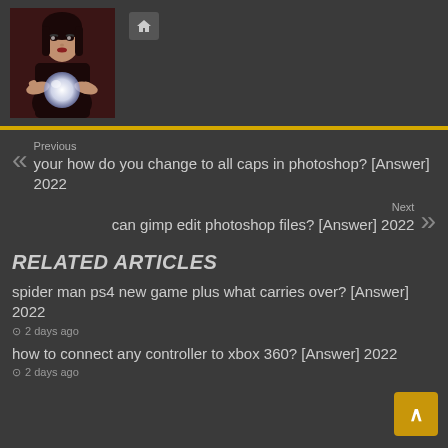[Figure (photo): Woman with crystal ball - dark mystical photo]
[Figure (other): Home button icon]
Previous
your how do you change to all caps in photoshop? [Answer] 2022
Next
can gimp edit photoshop files? [Answer] 2022
RELATED ARTICLES
spider man ps4 new game plus what carries over? [Answer] 2022
2 days ago
how to connect any controller to xbox 360? [Answer] 2022
2 days ago